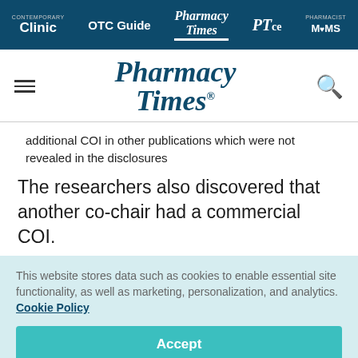Clinic | OTC Guide | Pharmacy Times | PTce | Pharmacist MOMS
[Figure (logo): Pharmacy Times logo with hamburger menu and search icon]
additional COI in other publications which were not revealed in the disclosures
The researchers also discovered that another co-chair had a commercial COI.
This website stores data such as cookies to enable essential site functionality, as well as marketing, personalization, and analytics. Cookie Policy
Accept
Deny